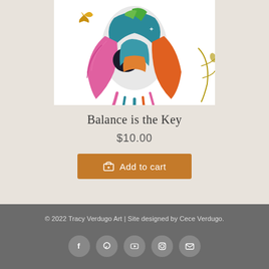[Figure (illustration): Colorful abstract bird illustration with painterly feathers in pink, teal, orange, green, and black patterns on white background, with a yellow butterfly and golden branch elements]
Balance is the Key
$10.00
Add to cart
© 2022 Tracy Verdugo Art | Site designed by Cece Verdugo.
[Figure (other): Social media icons: Facebook, Pinterest, YouTube, Instagram, Email]